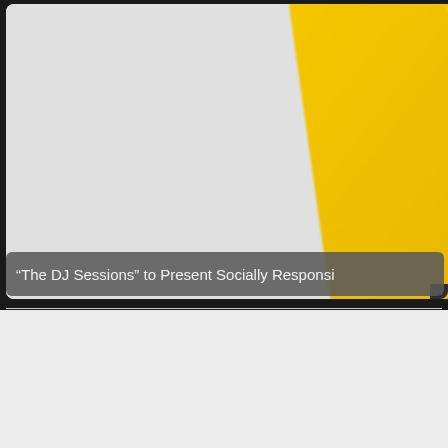[Figure (photo): Partial view of a yellow/gold geometric shape (appears to be a album cover or promotional image) on a light gray background, viewed at an angle with blur effect]
“The DJ Sessions” to Present Socially Responsi
« Hammarica.com Daily DJ Interview: SYDNEY BLU
New Release: Divini & Warning – The Housebeat »